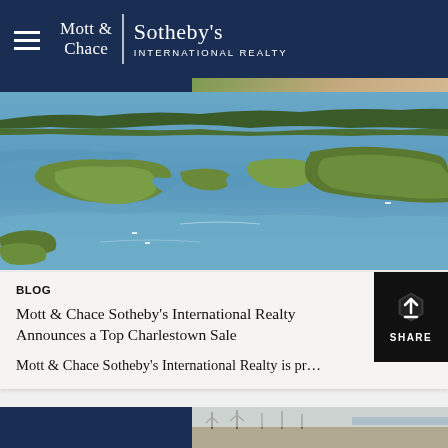Mott & Chace | Sotheby's International Realty
[Figure (photo): Aerial photograph of Charlestown coastal area showing wetlands, marsh, blue water channels, and wooded islands]
BLOG
Mott & Chace Sotheby's International Realty Announces a Top Charlestown Sale
Mott & Chace Sotheby's International Realty is pr…
[Figure (photo): Partial view of bottom listing card with dark blue left section and outdoor landscape on right]